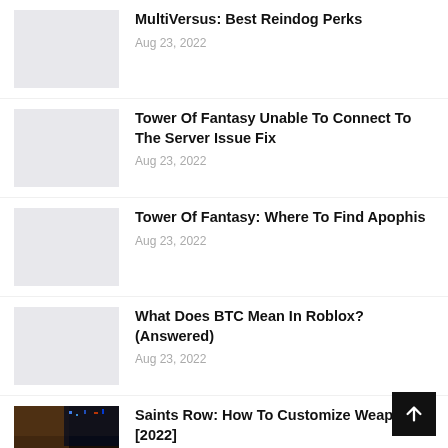MultiVersus: Best Reindog Perks
Aug 23, 2022
Tower Of Fantasy Unable To Connect To The Server Issue Fix
Aug 23, 2022
Tower Of Fantasy: Where To Find Apophis
Aug 23, 2022
What Does BTC Mean In Roblox? (Answered)
Aug 23, 2022
Saints Row: How To Customize Weapons [2022]
Aug 23, 2022